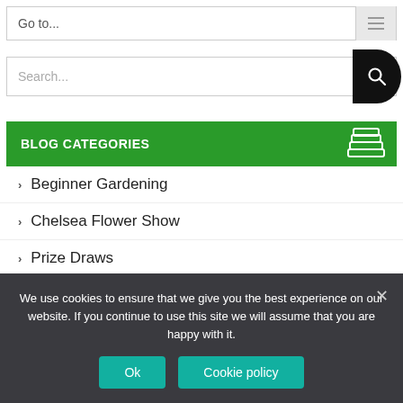Go to...
[Figure (screenshot): Search bar with magnifying glass button]
BLOG CATEGORIES
Beginner Gardening
Chelsea Flower Show
Prize Draws
We use cookies to ensure that we give you the best experience on our website. If you continue to use this site we will assume that you are happy with it.
Ok  Cookie policy